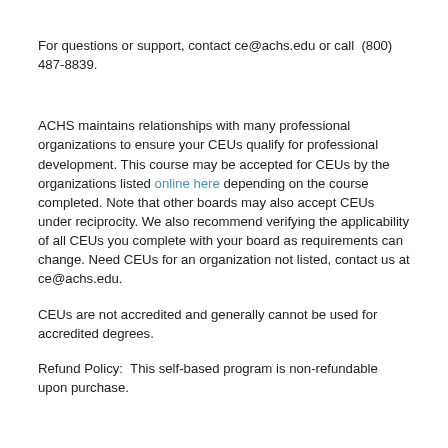For questions or support, contact ce@achs.edu or call  (800) 487-8839.
ACHS maintains relationships with many professional organizations to ensure your CEUs qualify for professional development. This course may be accepted for CEUs by the organizations listed online here depending on the course completed. Note that other boards may also accept CEUs under reciprocity. We also recommend verifying the applicability of all CEUs you complete with your board as requirements can change. Need CEUs for an organization not listed, contact us at ce@achs.edu.
CEUs are not accredited and generally cannot be used for accredited degrees.
Refund Policy:  This self-based program is non-refundable upon purchase.